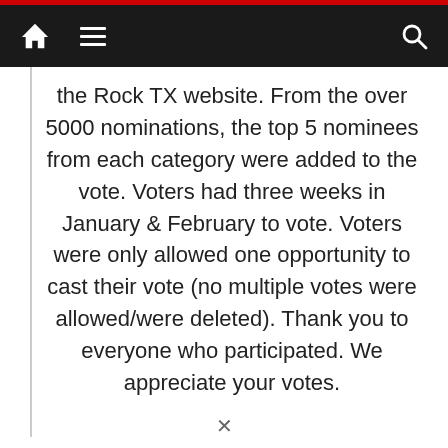Navigation bar with home, menu, and search icons
the Rock TX website. From the over 5000 nominations, the top 5 nominees from each category were added to the vote. Voters had three weeks in January & February to vote. Voters were only allowed one opportunity to cast their vote (no multiple votes were allowed/were deleted). Thank you to everyone who participated. We appreciate your votes.